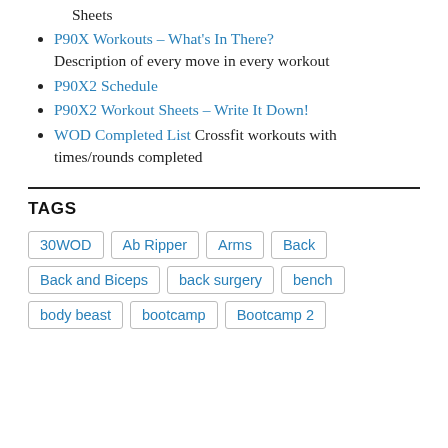Sheets
P90X Workouts – What's In There? Description of every move in every workout
P90X2 Schedule
P90X2 Workout Sheets – Write It Down!
WOD Completed List Crossfit workouts with times/rounds completed
TAGS
30WOD, Ab Ripper, Arms, Back, Back and Biceps, back surgery, bench, body beast, bootcamp, Bootcamp 2